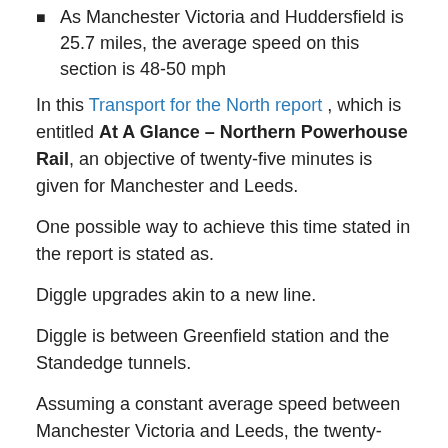As Manchester Victoria and Huddersfield is 25.7 miles, the average speed on this section is 48-50 mph
In this Transport for the North report , which is entitled At A Glance – Northern Powerhouse Rail, an objective of twenty-five minutes is given for Manchester and Leeds.
One possible way to achieve this time stated in the report is stated as.
Diggle upgrades akin to a new line.
Diggle is between Greenfield station and the Standedge tunnels.
Assuming a constant average speed between Manchester Victoria and Leeds, the twenty-minutes objective for this route means a timing of fifteen minutes between Manchester Victoria and Huddersfield.